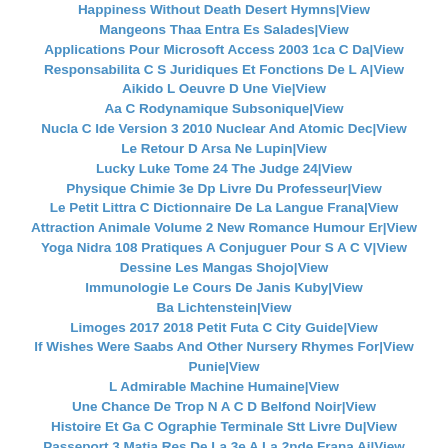Happiness Without Death Desert Hymns|View
Mangeons Thaa Entra Es Salades|View
Applications Pour Microsoft Access 2003 1ca C Da|View
Responsabilita C S Juridiques Et Fonctions De L A|View
Aikido L Oeuvre D Une Vie|View
Aa C Rodynamique Subsonique|View
Nucla C Ide Version 3 2010 Nuclear And Atomic Dec|View
Le Retour D Arsa Ne Lupin|View
Lucky Luke Tome 24 The Judge 24|View
Physique Chimie 3e Dp Livre Du Professeur|View
Le Petit Littra C Dictionnaire De La Langue Frana|View
Attraction Animale Volume 2 New Romance Humour Er|View
Yoga Nidra 108 Pratiques A Conjuguer Pour S A C V|View
Dessine Les Mangas Shojo|View
Immunologie Le Cours De Janis Kuby|View
Ba Lichtenstein|View
Limoges 2017 2018 Petit Futa C City Guide|View
If Wishes Were Saabs And Other Nursery Rhymes For|View
Punie|View
L Admirable Machine Humaine|View
Une Chance De Trop N A C D Belfond Noir|View
Histoire Et Ga C Ographie Terminale Stt Livre Du|View
Passeport 3 Matia Res De La 3e A La 2nde Frana Ai|View